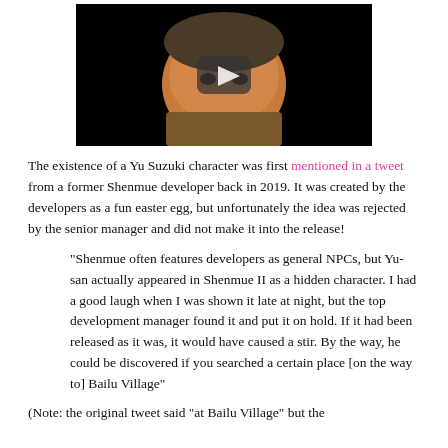[Figure (screenshot): Video thumbnail showing a 3D character resembling Yu Suzuki in a dark background with a play button overlay]
The existence of a Yu Suzuki character was first mentioned in a tweet from a former Shenmue developer back in 2019. It was created by the developers as a fun easter egg, but unfortunately the idea was rejected by the senior manager and did not make it into the release!
"Shenmue often features developers as general NPCs, but Yu-san actually appeared in Shenmue II as a hidden character. I had a good laugh when I was shown it late at night, but the top development manager found it and put it on hold. If it had been released as it was, it would have caused a stir. By the way, he could be discovered if you searched a certain place [on the way to] Bailu Village"
(Note: the original tweet said "at Bailu Village" but the